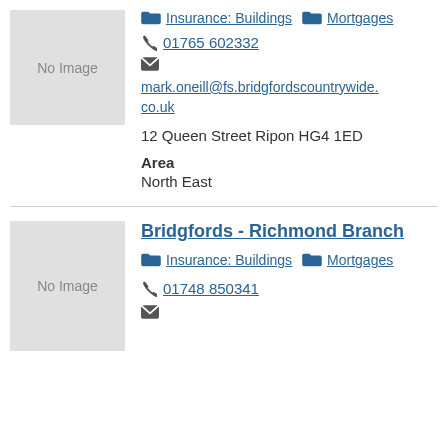[Figure (other): No Image placeholder box]
Insurance: Buildings   Mortgages
01765 602332
mark.oneill@fs.bridgfordscountrywide.co.uk
12 Queen Street Ripon HG4 1ED
Area
North East
Bridgfords - Richmond Branch
[Figure (other): No Image placeholder box]
Insurance: Buildings   Mortgages
01748 850341